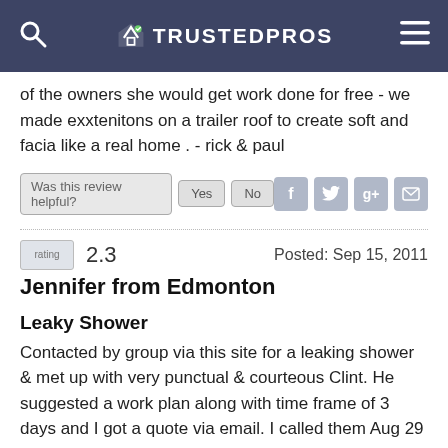TRUSTEDPROS
of the owners she would get work done for free - we made exxtenitons on a trailer roof to create soft and facia like a real home . - rick & paul
Was this review helpful? Yes No
Posted: Sep 15, 2011
rating 2.3
Jennifer from Edmonton
Leaky Shower
Contacted by group via this site for a leaking shower & met up with very punctual & courteous Clint. He suggested a work plan along with time frame of 3 days and I got a quote via email. I called them Aug 29 to arrange for work to take place and spoke to someone who